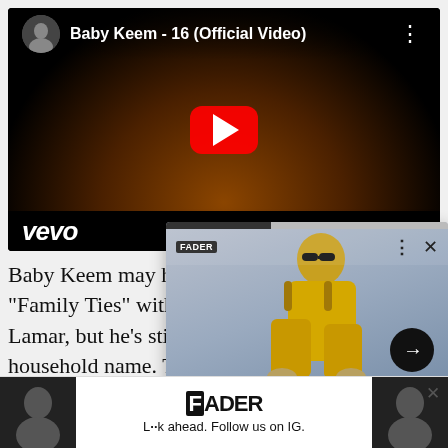[Figure (screenshot): YouTube embedded video player showing Baby Keem - 16 (Official Video) with dark scene and red play button, vevo branding at bottom]
Baby Keem may ha "Family Ties" with Lamar, but he's sti household name. T
[Figure (screenshot): FADER popup overlay showing man in yellow suit with caption 'Song You Need: Asake will be back']
[Figure (screenshot): FADER advertisement banner at bottom with text 'L••k ahead. Follow us on IG.' and two portrait photos on sides]